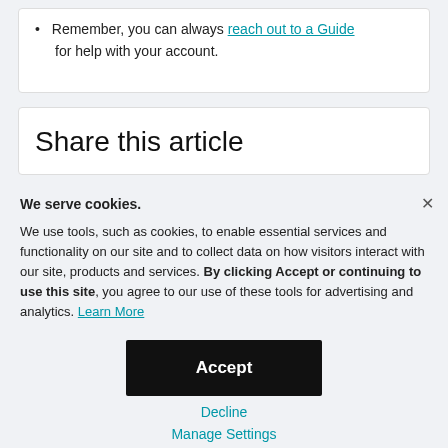Remember, you can always reach out to a Guide for help with your account.
Share this article
We serve cookies. We use tools, such as cookies, to enable essential services and functionality on our site and to collect data on how visitors interact with our site, products and services. By clicking Accept or continuing to use this site, you agree to our use of these tools for advertising and analytics. Learn More
Accept
Decline
Manage Settings